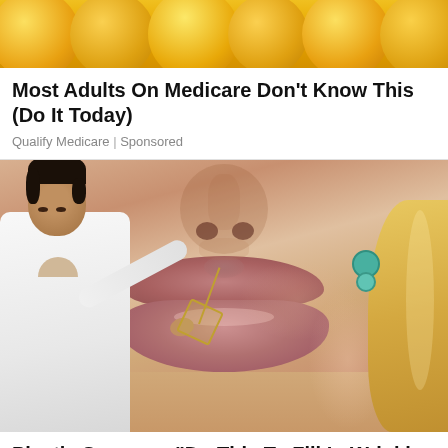[Figure (photo): Photo of oranges/lemons, yellow citrus fruits clustered together, used as ad image for a Medicare article]
Most Adults On Medicare Don't Know This (Do It Today)
Qualify Medicare | Sponsored
[Figure (photo): A plastic surgeon or doctor in white coat appears to be performing a procedure near a woman's lips, shown in close-up. The woman's face fills most of the frame showing nose, lips, and cheek area.]
Plastic Surgeon: “Do This To Fill In Wrinkles At Home” (Here’s How)